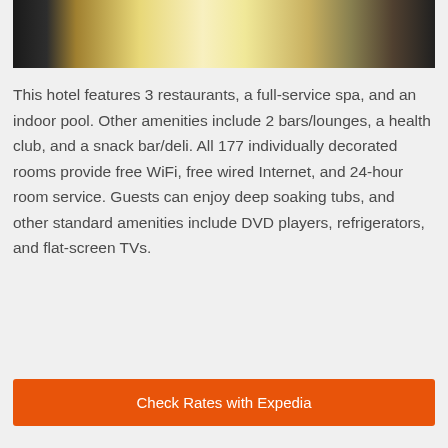[Figure (photo): Hotel interior photo showing a lobby or corridor with warm golden lighting on a polished floor, dark furniture silhouettes visible]
This hotel features 3 restaurants, a full-service spa, and an indoor pool. Other amenities include 2 bars/lounges, a health club, and a snack bar/deli. All 177 individually decorated rooms provide free WiFi, free wired Internet, and 24-hour room service. Guests can enjoy deep soaking tubs, and other standard amenities include DVD players, refrigerators, and flat-screen TVs.
Check Rates with Expedia